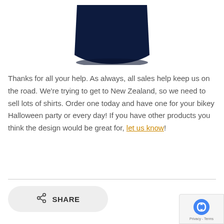[Figure (photo): Bottom portion of a dark navy blue t-shirt product photo on white background]
Thanks for all your help. As always, all sales help keep us on the road. We're trying to get to New Zealand, so we need to sell lots of shirts. Order one today and have one for your bikey Halloween party or every day! If you have other products you think the design would be great for, let us know!
[Figure (other): SHARE button with share icon on a light grey rounded rectangle]
[Figure (logo): Google reCAPTCHA badge with Privacy and Terms text]